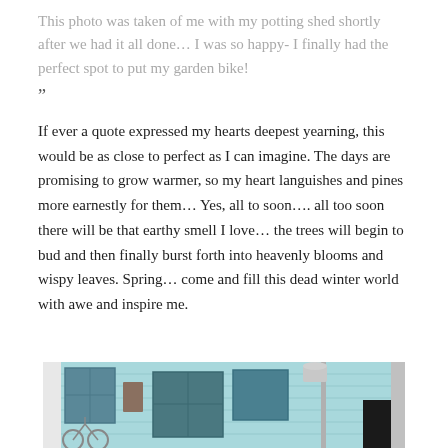This photo was taken of me with my potting shed shortly after we had it all done… I was so happy- I finally had the perfect spot to put my garden bike!
”
If ever a quote expressed my hearts deepest yearning, this would be as close to perfect as I can imagine. The days are promising to grow warmer, so my heart languishes and pines more earnestly for them… Yes, all to soon…. all too soon there will be that earthy smell I love… the trees will begin to bud and then finally burst forth into heavenly blooms and wispy leaves. Spring… come and fill this dead winter world with awe and inspire me.
[Figure (photo): Photo of a light blue/teal potting shed exterior with windows, a lamp post, and a bicycle visible in front]